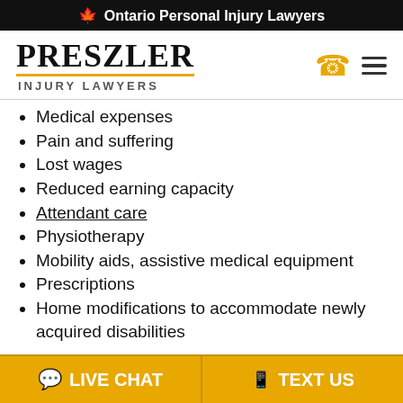Ontario Personal Injury Lawyers
[Figure (logo): Preszler Injury Lawyers logo with phone and menu icons]
Medical expenses
Pain and suffering
Lost wages
Reduced earning capacity
Attendant care
Physiotherapy
Mobility aids, assistive medical equipment
Prescriptions
Home modifications to accommodate newly acquired disabilities
LIVE CHAT   TEXT US